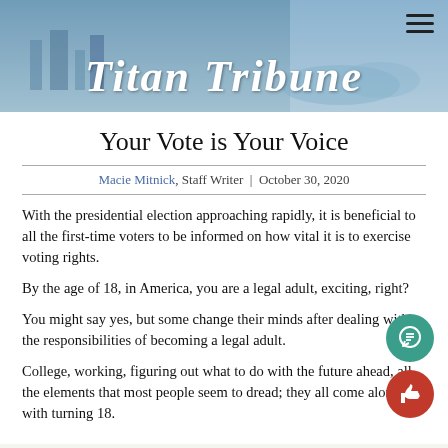[Figure (photo): Titan Tribune newspaper website header banner with crowd/city background images and white bold italic title text 'Titan Tribune', hamburger menu icon top right]
Your Vote is Your Voice
Macie Mitnick, Staff Writer | October 30, 2020
With the presidential election approaching rapidly, it is beneficial to all the first-time voters to be informed on how vital it is to exercise voting rights.
By the age of 18, in America, you are a legal adult, exciting, right?
You might say yes, but some change their minds after dealing with the responsibilities of becoming a legal adult.
College, working, figuring out what to do with the future ahead, all the elements that most people seem to dread; they all come along with turning 18.